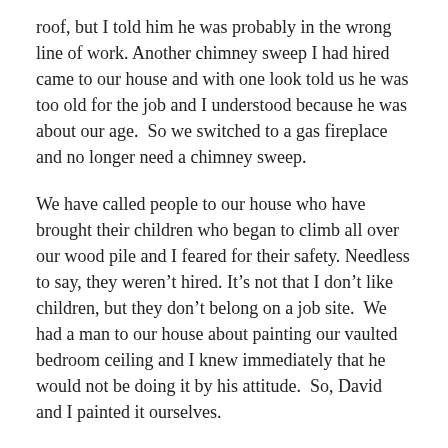roof, but I told him he was probably in the wrong line of work. Another chimney sweep I had hired came to our house and with one look told us he was too old for the job and I understood because he was about our age.  So we switched to a gas fireplace and no longer need a chimney sweep.
We have called people to our house who have brought their children who began to climb all over our wood pile and I feared for their safety. Needless to say, they weren't hired. It's not that I don't like children, but they don't belong on a job site.  We had a man to our house about painting our vaulted bedroom ceiling and I knew immediately that he would not be doing it by his attitude.  So, David and I painted it ourselves.
Now for the kitchen remodel.  We searched for a long time for someone to put in a new kitchen and we went to a kitchen “specialist” where we found cabinets we loved so we hired them.  Well, a job that should have taken a month took all Summer. I had to cook all our meals in my shop and we